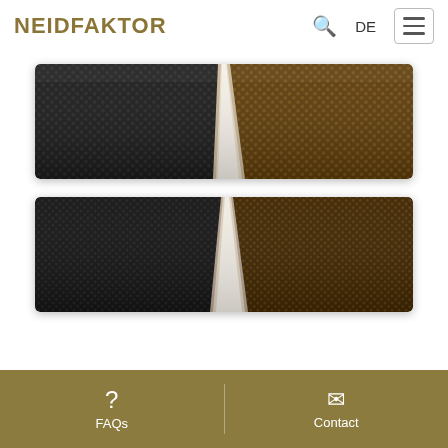NEIDFAKTOR  🔍  DE  ☰
[Figure (photo): Two carbon fiber car interior trim panels. Top panel shows two-tone carbon fiber: black/dark carbon on the left half and golden/brown carbon on the right half, separated by a chrome/silver V-shaped divider at center.]
[Figure (photo): Second carbon fiber trim panel: similar two-tone layout with black carbon fiber on the left and golden/amber carbon fiber on the right, separated by a chrome V-shaped inlay. Both panels have glossy finish.]
? FAQs    ✉ Contact